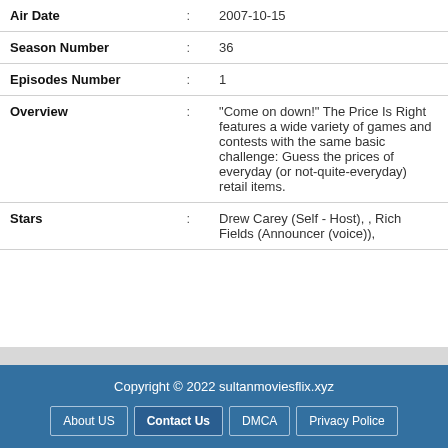| Field | Sep | Value |
| --- | --- | --- |
| Air Date | : | 2007-10-15 |
| Season Number | : | 36 |
| Episodes Number | : | 1 |
| Overview | : | "Come on down!" The Price Is Right features a wide variety of games and contests with the same basic challenge: Guess the prices of everyday (or not-quite-everyday) retail items. |
| Stars | : | Drew Carey (Self - Host), , Rich Fields (Announcer (voice)), |
Copyright © 2022 sultanmoviesflix.xyz
About US | Contact Us | DMCA | Privacy Police